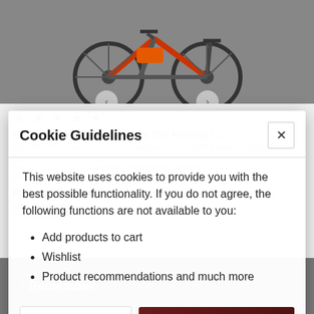[Figure (screenshot): Screenshot of an e-bike product page with a cookie consent modal dialog overlaid on top. Background shows a red and black e-bike on grey background, with product listing text partially visible behind the modal.]
Cookie Guidelines
This website uses cookies to provide you with the best possible functionality. If you do not agree, the following functions are not available to you:
Add products to cart
Wishlist
Product recommendations and much more
Close
I agree